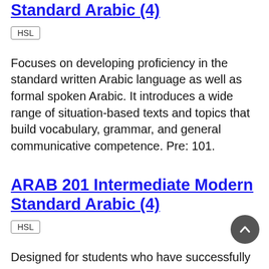Standard Arabic (4)
HSL
Focuses on developing proficiency in the standard written Arabic language as well as formal spoken Arabic. It introduces a wide range of situation-based texts and topics that build vocabulary, grammar, and general communicative competence. Pre: 101.
ARAB 201 Intermediate Modern Standard Arabic (4)
HSL
Designed for students who have successfully completed a year of Elementary Arabic. Focus is on acquisition of more complex grammatical structures, expanding vocabulary, and developing competence in a